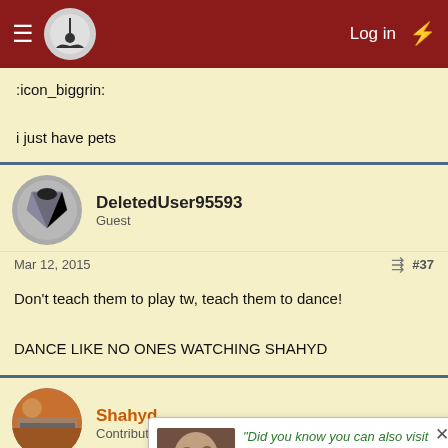Log in
:icon_biggrin:

i just have pets
DeletedUser95593
Guest
Mar 12, 2015  #37
Don't teach them to play tw, teach them to dance!

DANCE LIKE NO ONES WATCHING SHAHYD
Shahyd
Contributing Poster
Mar 12, 2015  #38
"Did you know you can also visit us on our Discord chat? Come and meet us!